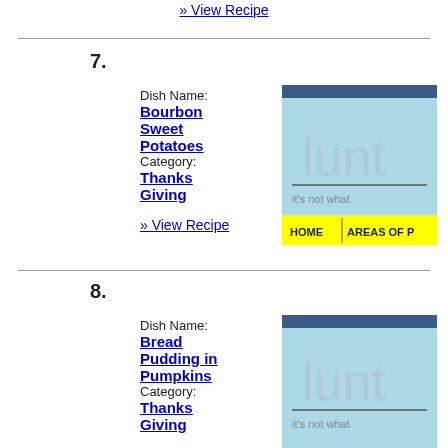» View Recipe (top, item 6 link)
7. Dish Name: Bourbon Sweet Potatoes | Category: Thanks Giving | » View Recipe
[Figure (screenshot): Lunt website placeholder image showing light blue background with 'lunt' text, 'it's not what' tagline, and yellow HOME | AREAS OF navigation bar]
8. Dish Name: Bread Pudding in Pumpkins | Category: Thanks Giving